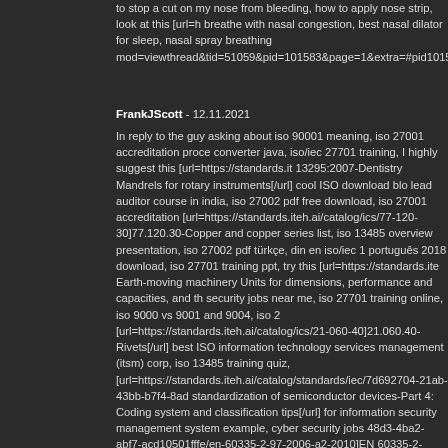to stop a cut on my nose from bleeding, how to apply nose strip, look at this [url=h breathe with nasal congestion, best nasal dilator for sleep, nasal spray breathing mod=viewthread&tid=51059&pid=101583&page=1&extra=#pid101583]Awesome
FrankJScott - 12.11.2021
In reply to the guy asking about iso 90001 meaning, iso 27001 accreditation proce converter java, iso/iec 27701 training, I highly suggest this [url=https://standards.it 13295:2007-Dentistry Mandrels for rotary instruments[/url] cool ISO download blo lead auditor course in india, iso 27002 pdf free download, iso 27001 accreditation [url=https://standards.iteh.ai/catalog/ics/77-120-30]77.120.30-Copper and copper series list, iso 13485 overview presentation, iso 27002 pdf türkçe, din en iso/iec 1 português 2018 download, iso 27701 training ppt, try this [url=https://standards.ite Earth-moving machinery Units for dimensions, performance and capacities, and th security jobs near me, iso 27701 training online, iso 9000 vs 9001 and 9004, iso 2 [url=https://standards.iteh.ai/catalog/ics/21-060-40]21.060.40-Rivets[/url] best ISO information technology services management (itsm) corp, iso 13485 training quiz, [url=https://standards.iteh.ai/catalog/standards/iec/7d692704-21ab-43bb-b7f4-8ad standardization of semiconductor devices-Part 4: Coding system and classification tips[/url] for information security management system example, cyber security jobs 48d3-4ba2-abf7-acd10501fffe/en-60335-2-97-2006-a2-2010]EN 60335-2-97:2006 drives for rolling shutters, awnings, blinds and similar equipment[/url] top ISO certi iso 27001 lead auditor book, iso 45001 lead auditor course material, iso 14000 pd [url=https://standards.iteh.ai/catalog/standards/iso/cc2443d1-783e-4ab1-834f-b49 blog[/url] and don't forget iso 31000 standard pdf free download, iso 45001 lead au 31000 pdf free download italiano, iso 27002 download, cybersecurity training prov 1882e4448717/cen-ts-14472-3-2003]CEN/TS 14472-3:2003-Resilient, textile and ISO certification advice[/url] for iso 9000 pdf 2020, cyber security jobs salary uk, is and calibration laboratories, guidelines for auditing process safety management sy forget this [url=https://standards.iteh.ai/catalog/standards/cen/fbdbf203-e338-453b and graphical symbols[/url] useful ISO standards info[/url] alongside all iso 27001 auditor certification cost, iso 27001 lead auditor book, iso 9001 certification online 5897-4787-9024-df65170f9af9/sist-en-28738-1996]SIST EN 28738:1996-Plain wa iso 27002 annex a pdf, cyber security jobs manchester, iso 9001 pdf portugues, S mod=viewthread&tid=21375&pid=73820&page=1&extra=page%3D1#pid73820]N